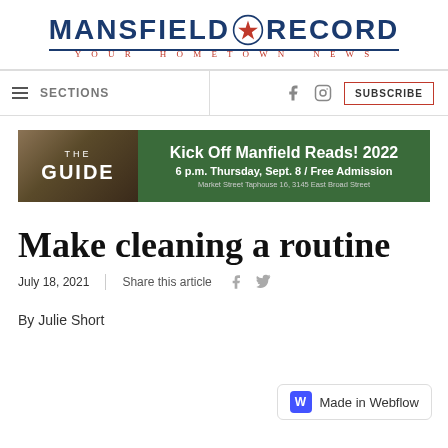[Figure (logo): Mansfield Record newspaper logo with Texas star icon, tagline 'Your Hometown News']
SECTIONS | SUBSCRIBE
[Figure (infographic): Ad banner: The Guide - Kick Off Manfield Reads! 2022, 6 p.m. Thursday, Sept. 8 / Free Admission, Market Street Taphouse 16, 3145 East Broad Street]
Make cleaning a routine
July 18, 2021   Share this article
By Julie Short